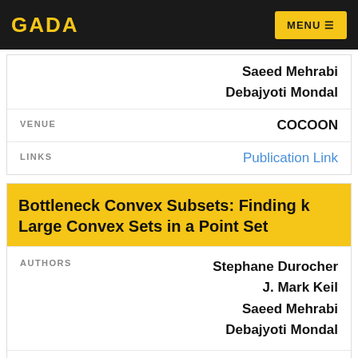GADA | MENU
Saeed Mehrabi
Debajyoti Mondal
VENUE: COCOON
LINKS: Publication Link
Bottleneck Convex Subsets: Finding k Large Convex Sets in a Point Set
AUTHORS: Stephane Durocher
J. Mark Keil
Saeed Mehrabi
Debajyoti Mondal
VENUE: CoRR
LINKS: Publication Link